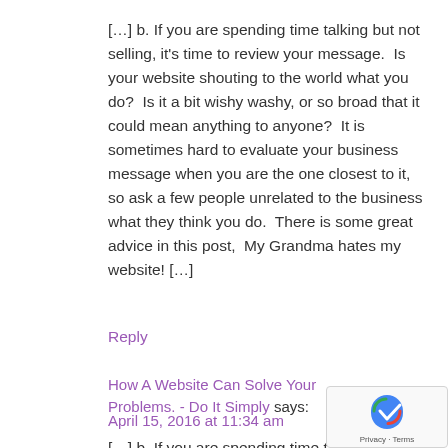[…] b. If you are spending time talking but not selling, it's time to review your message.  Is your website shouting to the world what you do?  Is it a bit wishy washy, or so broad that it could mean anything to anyone?  It is sometimes hard to evaluate your business message when you are the one closest to it, so ask a few people unrelated to the business what they think you do.  There is some great advice in this post,  My Grandma hates my website! […]
Reply
How A Website Can Solve Your Problems. - Do It Simply says:
April 15, 2016 at 11:34 am
[…] b. If you are spending time talking but